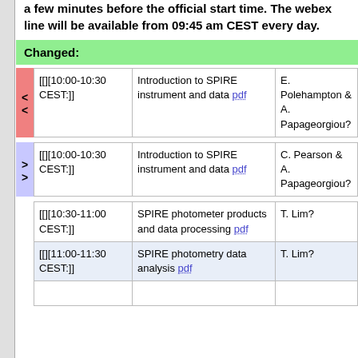a few minutes before the official start time. The webex line will be available from 09:45 am CEST every day.
Changed:
|  | Time | Topic | Speaker |
| --- | --- | --- | --- |
| < < | [][10:00-10:30 CEST:]] | Introduction to SPIRE instrument and data pdf | E. Polehampton & A. Papageorgiou? |
| > > | [][10:00-10:30 CEST:]] | Introduction to SPIRE instrument and data pdf | C. Pearson & A. Papageorgiou? |
| Time | Topic | Speaker |
| --- | --- | --- |
| [][10:30-11:00 CEST:]] | SPIRE photometer products and data processing pdf | T. Lim? |
| [][11:00-11:30 CEST:]] | SPIRE photometry data analysis pdf | T. Lim? |